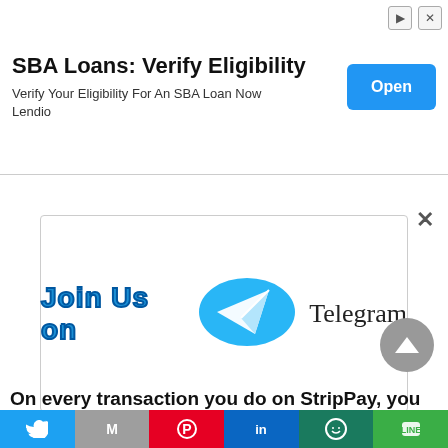SBA Loans: Verify Eligibility
Verify Your Eligibility For An SBA Loan Now
Lendio
[Figure (infographic): Join Us on Telegram banner with Telegram logo (blue oval with paper plane icon) and text 'Telegram']
On every transaction you do on StripPay, you
Twitter | Gmail | Pinterest | LinkedIn | WhatsApp | Line social sharing bar